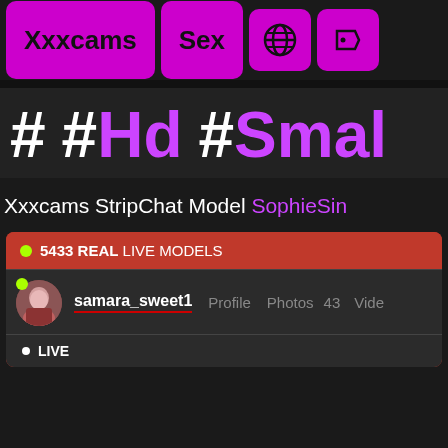Xxxcams  Sex  [globe icon]  [tag icon]
# #Hd #Smal
Xxxcams StripChat Model SophieSin
5433 REAL LIVE MODELS
samara_sweet1  Profile  Photos 43  Vide
• LIVE